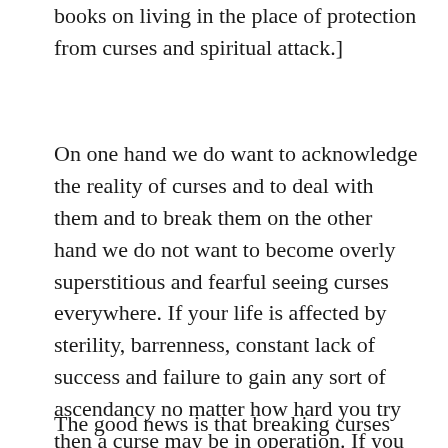books on living in the place of protection from curses and spiritual attack.]
On one hand we do want to acknowledge the reality of curses and to deal with them and to break them on the other hand we do not want to become overly superstitious and fearful seeing curses everywhere. If your life is affected by sterility, barrenness, constant lack of success and failure to gain any sort of ascendancy no matter how hard you try then a curse may be in operation. If you think this may be the case then do some research on your life and family history and take the matter before the Lord.
The good news is that breaking curses can be surprisingly easy for Christians because we dwell